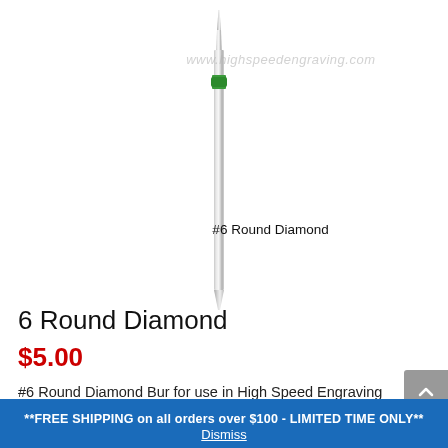[Figure (photo): A dental diamond bur (#6 Round Diamond) with a silver metal shank and a green color-coded band near the top, shown vertically. Watermark 'www.highspeedengraving.com' visible. Label '#6 Round Diamond' shown below the bur.]
6 Round Diamond
$5.00
#6 Round Diamond Bur for use in High Speed Engraving Handpieces. Friction Grip, 1/16″ shank size.
**FREE SHIPPING on all orders over $100 - LIMITED TIME ONLY** Dismiss